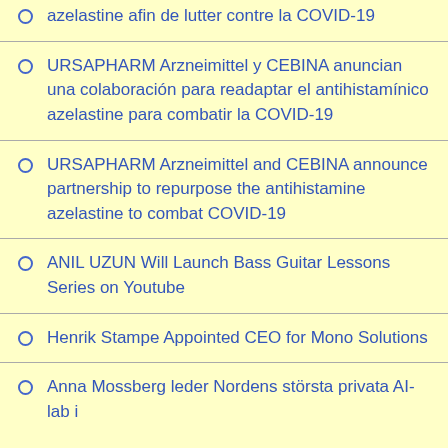azelastine afin de lutter contre la COVID-19
URSAPHARM Arzneimittel y CEBINA anuncian una colaboración para readaptar el antihistamínico azelastine para combatir la COVID-19
URSAPHARM Arzneimittel and CEBINA announce partnership to repurpose the antihistamine azelastine to combat COVID-19
ANIL UZUN Will Launch Bass Guitar Lessons Series on Youtube
Henrik Stampe Appointed CEO for Mono Solutions
Anna Mossberg leder Nordens största privata AI-lab i